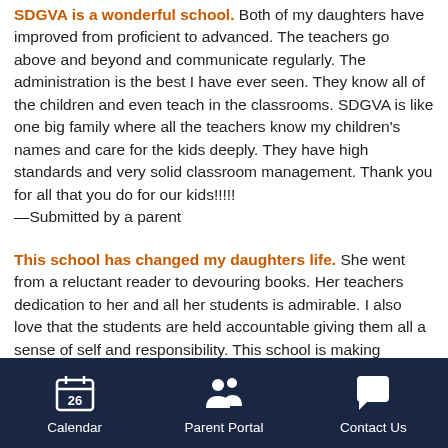SDGVA is a wonderful school. Both of my daughters have improved from proficient to advanced. The teachers go above and beyond and communicate regularly. The administration is the best I have ever seen. They know all of the children and even teach in the classrooms. SDGVA is like one big family where all the teachers know my children's names and care for the kids deeply. They have high standards and very solid classroom management. Thank you for all that you do for our kids!!!!! —Submitted by a parent
This school has changed my daughters life. She went from a reluctant reader to devouring books. Her teachers dedication to her and all her students is admirable. I also love that the students are held accountable giving them all a sense of self and responsibility. This school is making leaders out of our children. Thank you SDGVA. —Submitted by a parent
Our kids have been at SDGVA for the last four years and absolutely love it. The school celebrates diversity, focuses on character building and cultivates an environment
Calendar  Parent Portal  Contact Us